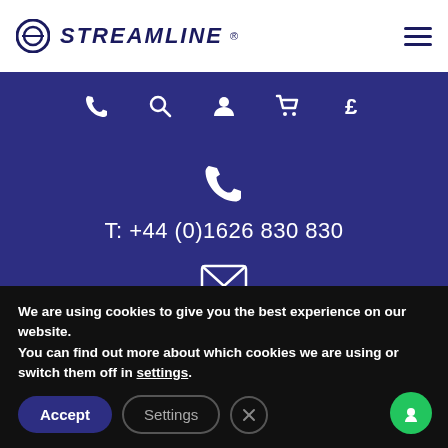STREAMLINE
[Figure (screenshot): Navigation icons bar with phone, search, user, cart, and pound sign icons on dark blue background]
T: +44 (0)1626 830 830
sales@streamline.systems
We are using cookies to give you the best experience on our website.
You can find out more about which cookies we are using or switch them off in settings.